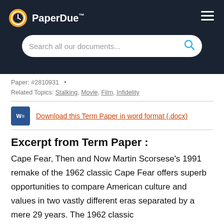PaperDue™
Paper: #2810931
Related Topics: Stalking, Movie, Film, Infidelity
Download this Term Paper in word format (.docx)
Excerpt from Term Paper :
Cape Fear, Then and Now Martin Scorsese's 1991 remake of the 1962 classic Cape Fear offers superb opportunities to compare American culture and values in two vastly different eras separated by a mere 29 years. The 1962 classic